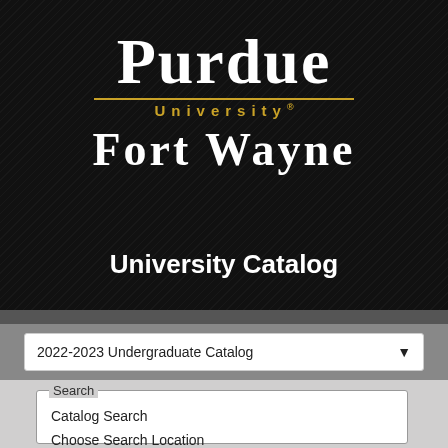[Figure (logo): Purdue University Fort Wayne logo on dark diagonal-striped background]
University Catalog
2022-2023 Undergraduate Catalog
Search
Catalog Search
Choose Search Location